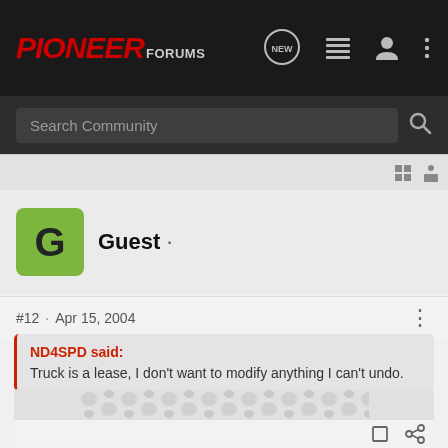PIONEER Forums
Search Community
Guest ·
#12 · Apr 15, 2004
ND4SPD said:
Truck is a lease, I don't want to modify anything I can't undo.
I did this...... It just drops in the places that are normally used to make a 2nd level for carrying sheets of plywood.
[Figure (photo): Partial image visible at bottom of post, showing a grey patterned surface (possibly truck bed liner or cargo area)]